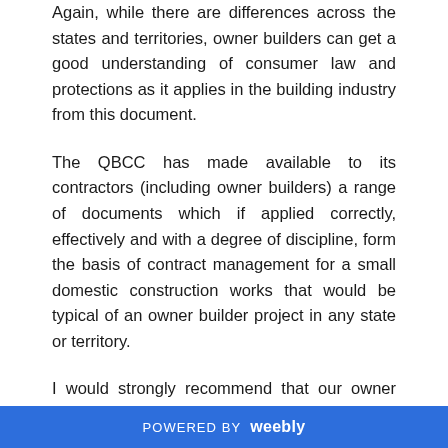Again, while there are differences across the states and territories, owner builders can get a good understanding of consumer law and protections as it applies in the building industry from this document.
The QBCC has made available to its contractors (including owner builders) a range of documents which if applied correctly, effectively and with a degree of discipline, form the basis of contract management for a small domestic construction works that would be typical of an owner builder project in any state or territory.
I would strongly recommend that our owner builder students visit the QBCC website and download each of
POWERED BY weebly